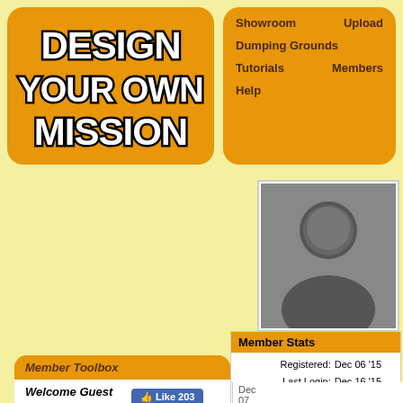[Figure (logo): Design Your Own Mission logo with bold white text on orange background with black border/shadow effect]
Showroom   Upload
Dumping Grounds
Tutorials   Members
Help
Member Toolbox
Welcome Guest
Log in
Register
DYOM Links
Support Forum
Download Mod
DYOM Discord Server
CLEO Library
YouTube Channel
Facebook Profile
[Figure (illustration): Generic user silhouette profile picture on dark gray background]
Member Stats
| Registered: | Dec 06 '15 |
| Last Login: | Dec 16 '15 |
| Missions made: | 0 |
| Trailers made: | 0 |
| VideoTuts made: | 0 |
| TextTuts made: | 0 |
| Comments made: | 9 |
| Ratings made: | 17 Avg: 5.0 |
Site Statistics
Dec 07 2015, 14:08
IF
YOU